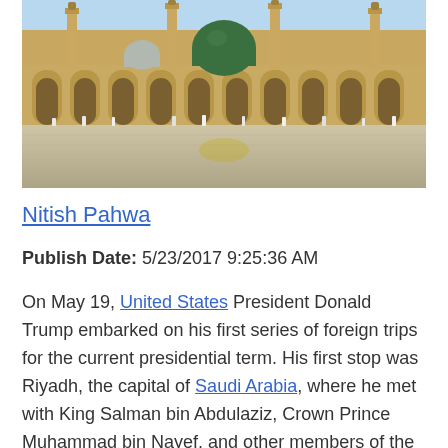[Figure (photo): Photo of Al-Masjid an-Nabawi (Prophet's Mosque) in Medina, Saudi Arabia. The mosque shows its distinctive green dome, minarets, and arched colonnades. The foreground shows a large reflective marble courtyard with worshippers. The image has warm golden tones.]
Nitish Pahwa
Publish Date: 5/23/2017 9:25:36 AM
On May 19, United States President Donald Trump embarked on his first series of foreign trips for the current presidential term. His first stop was Riyadh, the capital of Saudi Arabia, where he met with King Salman bin Abdulaziz, Crown Prince Muhammad bin Nayef, and other members of the Saudi royal family.